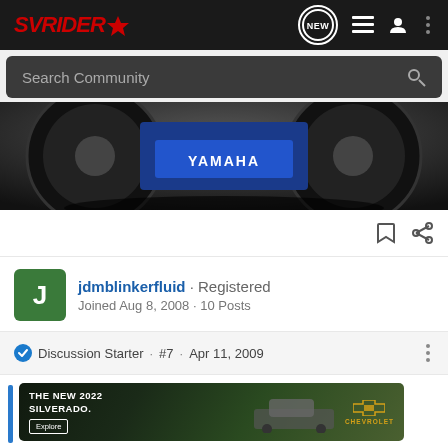SVRIDER
Search Community
[Figure (photo): Motorcycle underside showing Yamaha branding with two wheels visible, dark background]
jdmblinkerfluid · Registered
Joined Aug 8, 2008 · 10 Posts
Discussion Starter · #7 · Apr 11, 2009
[Figure (photo): Chevrolet advertisement: THE NEW 2022 SILVERADO. with Explore button and Chevrolet logo, truck in background]